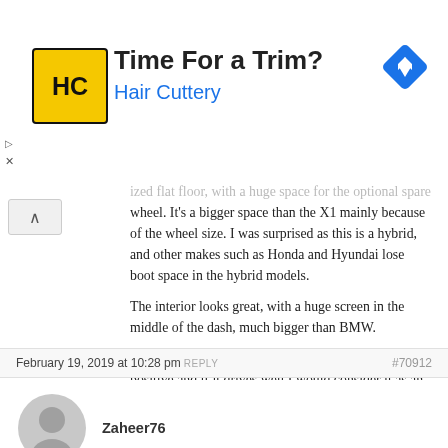[Figure (infographic): Hair Cuttery advertisement banner with yellow logo, 'Time For a Trim?' headline in dark text, 'Hair Cuttery' in blue, and a blue navigation diamond icon on the right.]
ized flat floor, with a huge space for the optional spare wheel. It's a bigger space than the X1 mainly because of the wheel size. I was surprised as this is a hybrid, and other makes such as Honda and Hyundai lose boot space in the hybrid models.

The interior looks great, with a huge screen in the middle of the dash, much bigger than BMW.

It was only a quick look, but first impressions are very positive and if it drives well I would consider it as an alternative to BMW.
February 19, 2019 at 10:28 pm REPLY #70912
Zaheer76